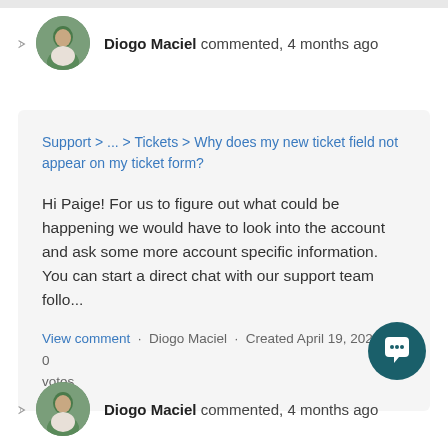Diogo Maciel commented, 4 months ago
Support > ... > Tickets > Why does my new ticket field not appear on my ticket form?
Hi Paige! For us to figure out what could be happening we would have to look into the account and ask some more account specific information. You can start a direct chat with our support team follo...
View comment · Diogo Maciel · Created April 19, 2022 · 0 votes
Diogo Maciel commented, 4 months ago